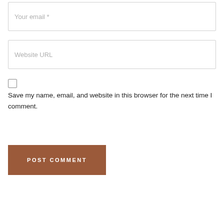Your email *
Website URL
Save my name, email, and website in this browser for the next time I comment.
POST COMMENT